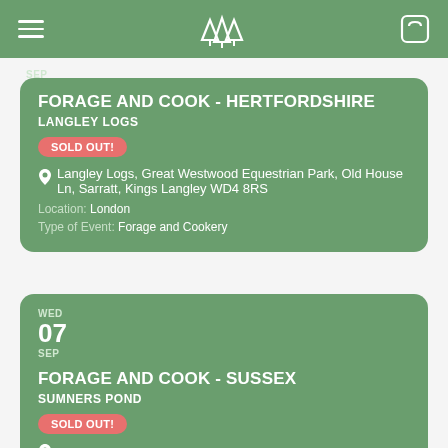Menu | Logo | Cart
SEP
FORAGE AND COOK - HERTFORDSHIRE
LANGLEY LOGS
SOLD OUT!
Langley Logs, Great Westwood Equestrian Park, Old House Ln, Sarratt, Kings Langley WD4 8RS
Location: London
Type of Event: Forage and Cookery
WED 07 SEP
FORAGE AND COOK - SUSSEX
SUMNERS POND
SOLD OUT!
Sumners Pond
Location: South East